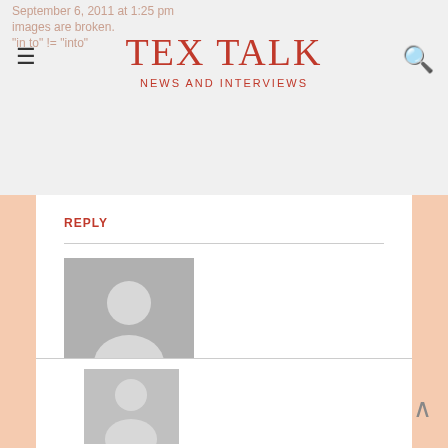TEX TALK
NEWS AND INTERVIEWS
September 6, 2011 at 1:25 pm
images are broken.
"in to" != "into"
REPLY
[Figure (illustration): Generic user avatar placeholder - grey square with silhouette]
Torbjorn T.
September 6, 2011 at 1:30 pm
The images doesn’t seem to work, at least I’m not seeing any of them.
REPLY
[Figure (illustration): Generic user avatar placeholder - grey square with silhouette, partially visible at bottom]